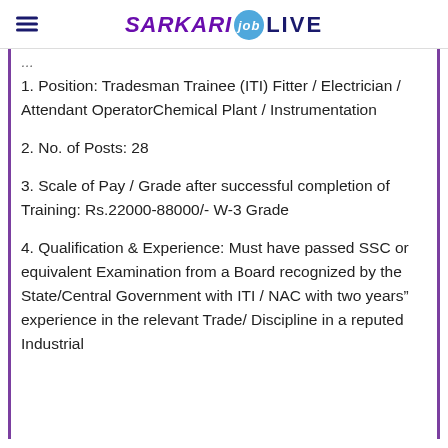SARKARI job LIVE
1. Position: Tradesman Trainee (ITI) Fitter / Electrician / Attendant OperatorChemical Plant / Instrumentation
2. No. of Posts: 28
3. Scale of Pay / Grade after successful completion of Training: Rs.22000-88000/- W-3 Grade
4. Qualification & Experience: Must have passed SSC or equivalent Examination from a Board recognized by the State/Central Government with ITI / NAC with two years" experience in the relevant Trade/ Discipline in a reputed Industrial